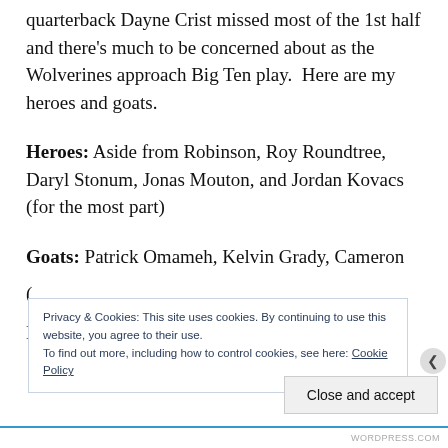quarterback Dayne Crist missed most of the 1st half and there's much to be concerned about as the Wolverines approach Big Ten play.  Here are my heroes and goats.
Heroes: Aside from Robinson, Roy Roundtree, Daryl Stonum, Jonas Mouton, and Jordan Kovacs (for the most part)
Goats: Patrick Omameh, Kelvin Grady, Cameron
(
N
Privacy & Cookies: This site uses cookies. By continuing to use this website, you agree to their use.
To find out more, including how to control cookies, see here: Cookie Policy
Close and accept